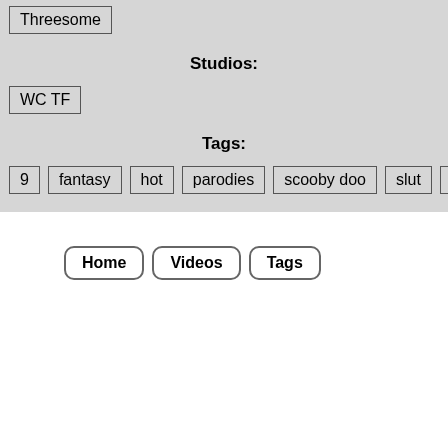Threesome
Studios:
WC TF
Tags:
9  fantasy  hot  parodies  scooby doo  slut  threesome  xxx
Home  Videos  Tags